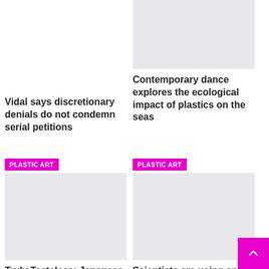[Figure (photo): Gray placeholder image for top-right article about contemporary dance]
Vidal says discretionary denials do not condemn serial petitions
Contemporary dance explores the ecological impact of plastics on the seas
[Figure (photo): Gray placeholder image with PLASTIC ART tag for bottom-left article]
[Figure (photo): Gray placeholder image with PLASTIC ART tag for bottom-right article]
Truly Tasteless: Japanese Plastic Kitchen Artists Get Creative
Scientists are using an old-fashioned art form and 3D printing to make a major…